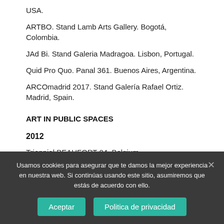USA.
ARTBO. Stand Lamb Arts Gallery. Bogotá, Colombia.
JAd Bi. Stand Galeria Madragoa. Lisbon, Portugal.
Quid Pro Quo. Panal 361. Buenos Aires, Argentina.
ARCOmadrid 2017. Stand Galería Rafael Ortiz. Madrid, Spain.
ART IN PUBLIC SPACES
2012
Triennial BEAUFORT 04. Belgium.
2011
Usamos cookies para asegurar que te damos la mejor experiencia en nuestra web. Si continúas usando este sitio, asumiremos que estás de acuerdo con ello.
Aceptar
Politica de privacidad